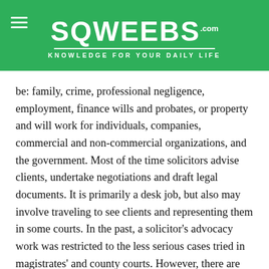SQWEEBS.com — KNOWLEDGE FOR YOUR DAILY LIFE
be: family, crime, professional negligence, employment, finance wills and probates, or property and will work for individuals, companies, commercial and non-commercial organizations, and the government. Most of the time solicitors advise clients, undertake negotiations and draft legal documents. It is primarily a desk job, but also may involve traveling to see clients and representing them in some courts. In the past, a solicitor's advocacy work was restricted to the less serious cases tried in magistrates' and county courts. However, there are more and more solicitors beginning to work in the higher courts.
Becoming a Solicitor
Solicitors must either complete an undergraduate cours law, or graduate with another degree and follow it with the